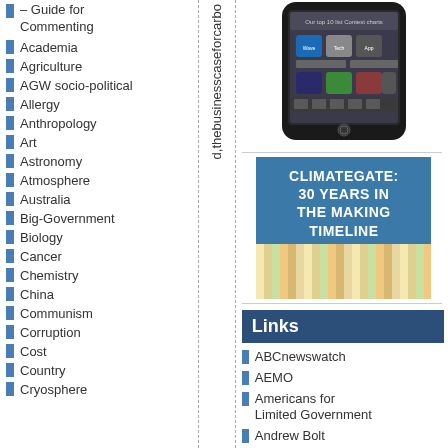– Guide for Commenting
Academia
Agriculture
AGW socio-political
Allergy
Anthropology
Art
Astronomy
Atmosphere
Australia
Big-Government
Biology
Cancer
Chemistry
China
Communism
Corruption
Cost
Country
Cryosphere
d,thebusinesscaseforcarbo
[Figure (photo): Smartphone displaying an app interface]
[Figure (infographic): Climategate: 30 Years in the Making Timeline - blue box with title and colorful timeline chart]
Links
ABCnewswatch
AEMO
Americans for Limited Government
Andrew Bolt
Aneroid Energy